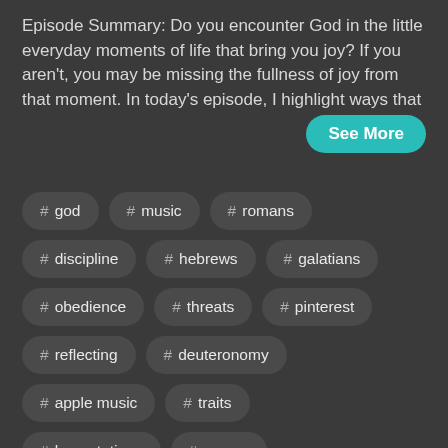Episode Summary: Do you encounter God in the little everyday moments of life that bring you joy? If you aren't, you may be missing the fullness of joy from that moment. In today's episode, I highlight ways that
See More
# god
# music
# romans
# discipline
# hebrews
# galatians
# obedience
# threats
# pinterest
# reflecting
# deuteronomy
# apple music
# traits
# lamentations
# verses